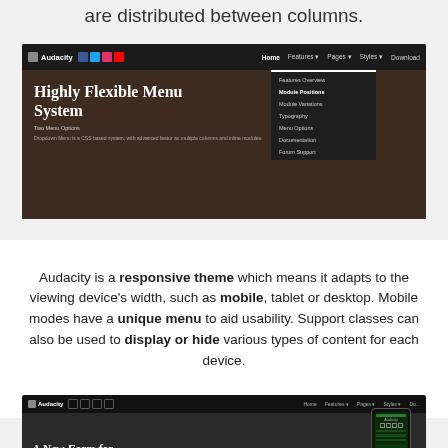are distributed between columns.
[Figure (screenshot): Screenshot of the Audacity theme website showing a navigation bar with logo, social icons, and menu items (Home, Features, Pages, Styles, Download). A dropdown menu is open under 'Features' showing: Features Overview, Module Positions (highlighted), Module Variations, Typography, Menu Options, Documentation, Forum Support. The hero section shows bold white text: 'Highly Flexible Menu System' with subtitle 'Two Menu Options' and description text about Dropdown Menu being a CSS based system with advanced features.]
Audacity is a responsive theme which means it adapts to the viewing device's width, such as mobile, tablet or desktop. Mobile modes have a unique menu to aid usability. Support classes can also be used to display or hide various types of content for each device.
[Figure (screenshot): Partial screenshot of the Audacity theme showing a dark navigation bar with logo and menu items, and the beginning of a hero section with italic bold text 'A New Form for' and a mobile phone device mockup shown on the right side.]